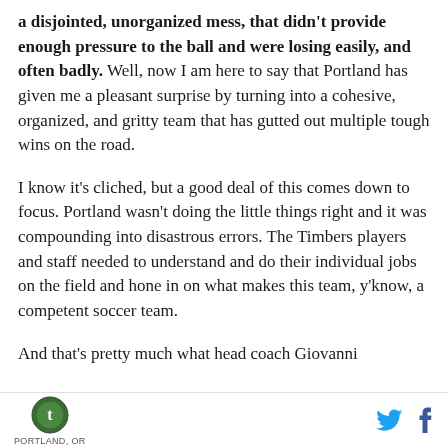a disjointed, unorganized mess, that didn't provide enough pressure to the ball and were losing easily, and often badly. Well, now I am here to say that Portland has given me a pleasant surprise by turning into a cohesive, organized, and gritty team that has gutted out multiple tough wins on the road.
I know it's cliched, but a good deal of this comes down to focus. Portland wasn't doing the little things right and it was compounding into disastrous errors. The Timbers players and staff needed to understand and do their individual jobs on the field and hone in on what makes this team, y'know, a competent soccer team.
And that's pretty much what head coach Giovanni
PORTLAND, OR